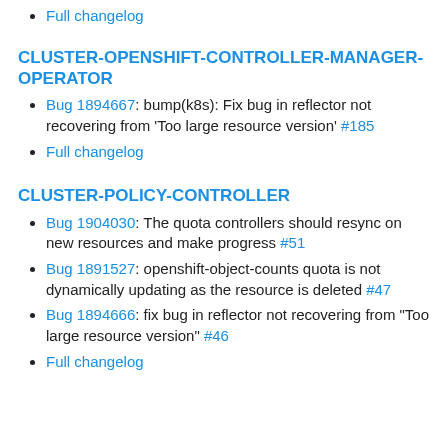Full changelog
CLUSTER-OPENSHIFT-CONTROLLER-MANAGER-OPERATOR
Bug 1894667: bump(k8s): Fix bug in reflector not recovering from 'Too large resource version' #185
Full changelog
CLUSTER-POLICY-CONTROLLER
Bug 1904030: The quota controllers should resync on new resources and make progress #51
Bug 1891527: openshift-object-counts quota is not dynamically updating as the resource is deleted #47
Bug 1894666: fix bug in reflector not recovering from "Too large resource version" #46
Full changelog